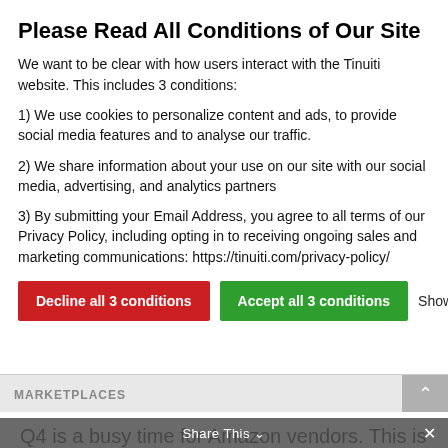Please Read All Conditions of Our Site
We want to be clear with how users interact with the Tinuiti website. This includes 3 conditions:
1) We use cookies to personalize content and ads, to provide social media features and to analyse our traffic.
2) We share information about your use on our site with our social media, advertising, and analytics partners
3) By submitting your Email Address, you agree to all terms of our Privacy Policy, including opting in to receiving ongoing sales and marketing communications: https://tinuiti.com/privacy-policy/
Decline all 3 conditions | Accept all 3 conditions | Show details
MARKETPLACES
Q4 is a busy time for Amazon vendors. This is when Amazon sends out purchase orders (POs) for Black Friday and Cyber Monday deals, as well
Share This